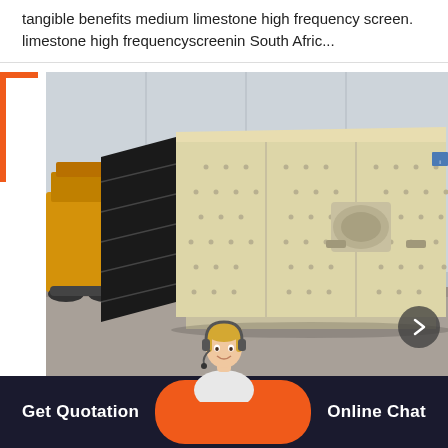tangible benefits medium limestone high frequency screen. limestone high frequencyscreenin South Afric...
[Figure (photo): Industrial vibrating screen machine (high frequency screen) with cream/beige colored body and black side panels, displayed in a warehouse/factory setting with yellow construction equipment visible in the background. An orange bracket/corner decoration appears in the top-left.]
Get Quotation | [agent chat button] | Online Chat